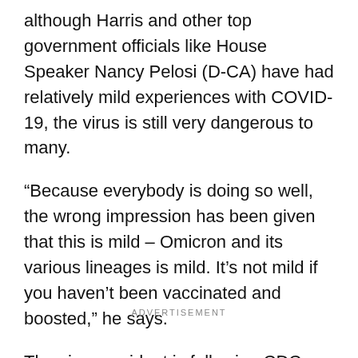although Harris and other top government officials like House Speaker Nancy Pelosi (D-CA) have had relatively mild experiences with COVID-19, the virus is still very dangerous to many.
“Because everybody is doing so well, the wrong impression has been given that this is mild – Omicron and its various lineages is mild. It’s not mild if you haven’t been vaccinated and boosted,” he says.
The vice president is following CDC guidelines on COVID-19, in addition to guidance from her doctors.
ADVERTISEMENT